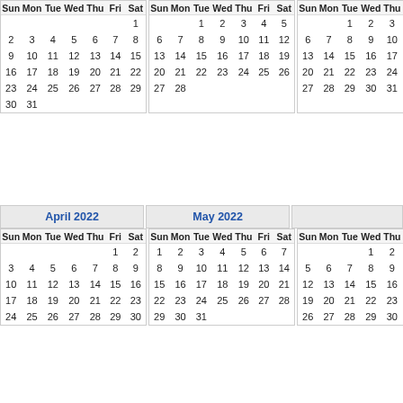| Sun | Mon | Tue | Wed | Thu | Fri | Sat |
| --- | --- | --- | --- | --- | --- | --- |
|  |  |  |  |  |  | 1 |
| 2 | 3 | 4 | 5 | 6 | 7 | 8 |
| 9 | 10 | 11 | 12 | 13 | 14 | 15 |
| 16 | 17 | 18 | 19 | 20 | 21 | 22 |
| 23 | 24 | 25 | 26 | 27 | 28 | 29 |
| 30 | 31 |  |  |  |  |  |
| Sun | Mon | Tue | Wed | Thu | Fri | Sat |
| --- | --- | --- | --- | --- | --- | --- |
|  |  | 1 | 2 | 3 | 4 | 5 |
| 6 | 7 | 8 | 9 | 10 | 11 | 12 |
| 13 | 14 | 15 | 16 | 17 | 18 | 19 |
| 20 | 21 | 22 | 23 | 24 | 25 | 26 |
| 27 | 28 |  |  |  |  |  |
| Sun | Mon | ... |
| --- | --- | --- |
|  |  |
| 6 | 7 |
| 13 | 14 |
| 20 | 21 |
| 27 | 28 |
April 2022
May 2022
| Sun | Mon | Tue | Wed | Thu | Fri | Sat |
| --- | --- | --- | --- | --- | --- | --- |
|  |  |  |  |  | 1 | 2 |
| 3 | 4 | 5 | 6 | 7 | 8 | 9 |
| 10 | 11 | 12 | 13 | 14 | 15 | 16 |
| 17 | 18 | 19 | 20 | 21 | 22 | 23 |
| 24 | 25 | 26 | 27 | 28 | 29 | 30 |
| Sun | Mon | Tue | Wed | Thu | Fri | Sat |
| --- | --- | --- | --- | --- | --- | --- |
| 1 | 2 | 3 | 4 | 5 | 6 | 7 |
| 8 | 9 | 10 | 11 | 12 | 13 | 14 |
| 15 | 16 | 17 | 18 | 19 | 20 | 21 |
| 22 | 23 | 24 | 25 | 26 | 27 | 28 |
| 29 | 30 | 31 |  |  |  |  |
| Sun | Mon | ... |
| --- | --- | --- |
|  |  |
| 5 | 6 |
| 12 | 13 |
| 19 | 20 |
| 26 | 27 |